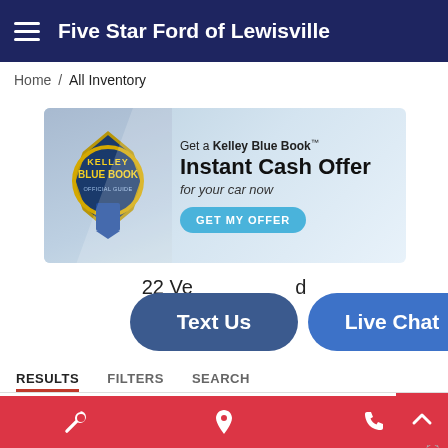Five Star Ford of Lewisville
Home / All Inventory
[Figure (infographic): Kelley Blue Book banner ad: Get a Kelley Blue Book Instant Cash Offer for your car now. GET MY OFFER button.]
22 Vehicles Found
[Figure (screenshot): Text Us and Live Chat overlay buttons]
RESULTS   FILTERS   SEARCH
SORT   Alloy Wheels ×   CLEAR FILTERS
Used 2006 Ford
Wrench icon   Location pin icon   Phone icon